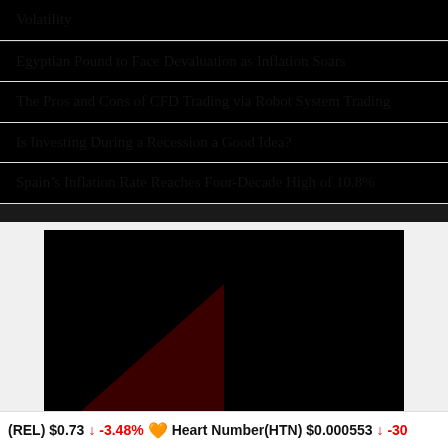Volatility
Egyptian Pound to Face Devaluation as Inflation Soars
The Pros and Cons of CFD Trading via Robot System Trading
Is Investing During a Recession a Good Idea?
Spain’s Inflation Rate Reaches Four-Decade High of 10.8%
[Figure (screenshot): Dark video player thumbnail with a dark reddish triangle in the lower-left corner against a black background]
(REL) $0.73 ↓ -3.48% 🧡 Heart Number(HTN) $0.000553 ↓ -30